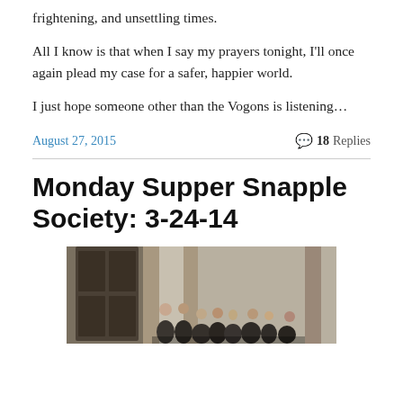frightening, and unsettling times.
All I know is that when I say my prayers tonight, I'll once again plead my case for a safer, happier world.
I just hope someone other than the Vogons is listening…
August 27, 2015    💬 18 Replies
Monday Supper Snapple Society: 3-24-14
[Figure (photo): Group of people in dark robes gathered outside a stone building with large wooden doors]